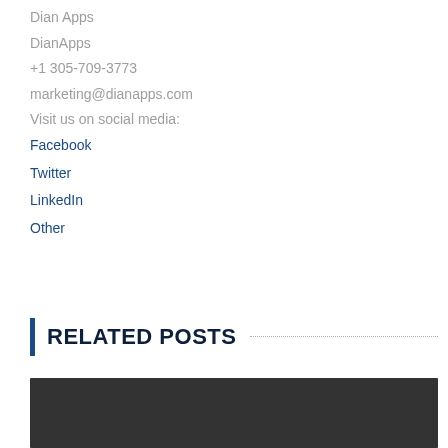Dian Apps
DianApps
+1 305-709-3773
marketing@dianapps.com
Visit us on social media:
Facebook
Twitter
LinkedIn
Other
RELATED POSTS
[Figure (photo): Dark rectangular image placeholder at bottom of page]